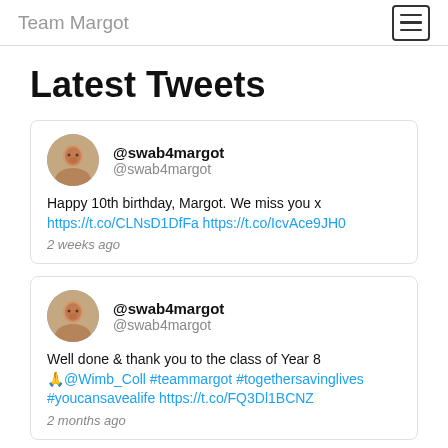Team Margot
Latest Tweets
@swab4margot @swab4margot Happy 10th birthday, Margot. We miss you x https://t.co/CLNsD1DfFa https://t.co/IcvAce9JH0 2 weeks ago
@swab4margot @swab4margot Well done & thank you to the class of Year 8 🙏@Wimb_Coll #teammargot #togethersavinglives #youcansavealife https://t.co/FQ3Dl1BCNZ 2 months ago
@swab4margot